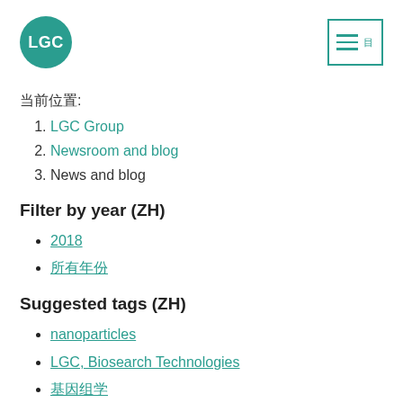[Figure (logo): LGC logo: teal circle with white text 'LGC']
[Figure (other): Hamburger menu icon with teal border, three lines and small text]
当前位置:
1. LGC Group
2. Newsroom and blog
3. News and blog
Filter by year (ZH)
2018
所有年份
Suggested tags (ZH)
nanoparticles
LGC, Biosearch Technologies
基因组学 (partial)